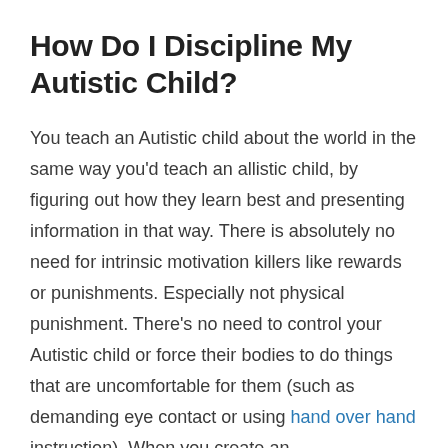How Do I Discipline My Autistic Child?
You teach an Autistic child about the world in the same way you'd teach an allistic child, by figuring out how they learn best and presenting information in that way. There is absolutely no need for intrinsic motivation killers like rewards or punishments. Especially not physical punishment. There's no need to control your Autistic child or force their bodies to do things that are uncomfortable for them (such as demanding eye contact or using hand over hand instruction). When you create an